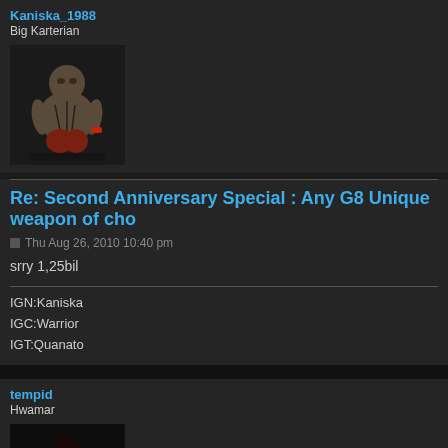Kaniska_1988
Big Karterian
[Figure (photo): Avatar image of a 3D rendered large alien/orc-like creature character, standing pose with reddish lower body on dark background]
Re: Second Anniversary Special : Any G8 Unique weapon of cho
Thu Aug 26, 2010 10:40 pm
srry 1,25bil
IGN:Kaniska
IGC:Warrior
IGT:Quanato
tempid
Hwamar
[Figure (photo): Avatar image of a dark armored character on dark background, partially visible]